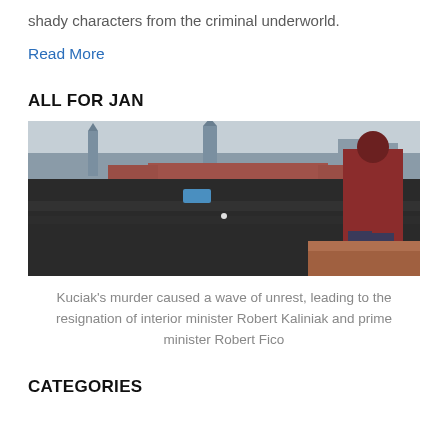shady characters from the criminal underworld.
Read More
ALL FOR JAN
[Figure (photo): Aerial panoramic view of a massive crowd gathered in a city square, with historic buildings including church towers and red-roofed structures visible. A person in a dark red hoodie stands on a ledge overlooking the crowd in the foreground right.]
Kuciak's murder caused a wave of unrest, leading to the resignation of interior minister Robert Kaliniak and prime minister Robert Fico
CATEGORIES